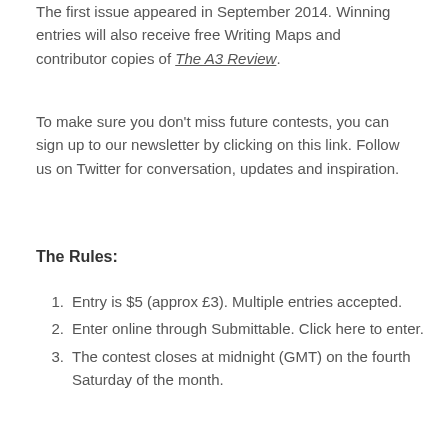The first issue appeared in September 2014. Winning entries will also receive free Writing Maps and contributor copies of The A3 Review.
To make sure you don't miss future contests, you can sign up to our newsletter by clicking on this link. Follow us on Twitter for conversation, updates and inspiration.
The Rules:
Entry is $5 (approx £3). Multiple entries accepted.
Enter online through Submittable. Click here to enter.
The contest closes at midnight (GMT) on the fourth Saturday of the month.